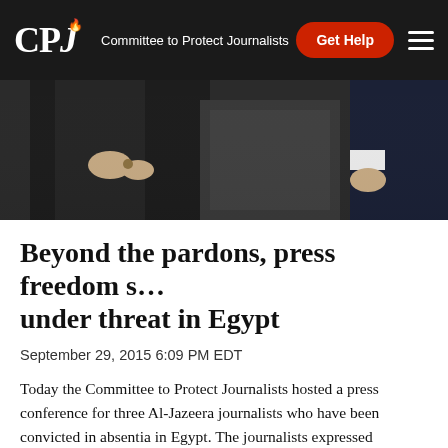CPJ — Committee to Protect Journalists | Get Help
[Figure (photo): Cropped photo showing two people's torsos/hands in formal attire against a dark background]
Beyond the pardons, press freedom still under threat in Egypt
September 29, 2015 6:09 PM EDT
Today the Committee to Protect Journalists hosted a press conference for three Al-Jazeera journalists who have been convicted in absentia in Egypt. The journalists expressed solidarity with other members of the press who have been charged by the Egyptian government, and called...